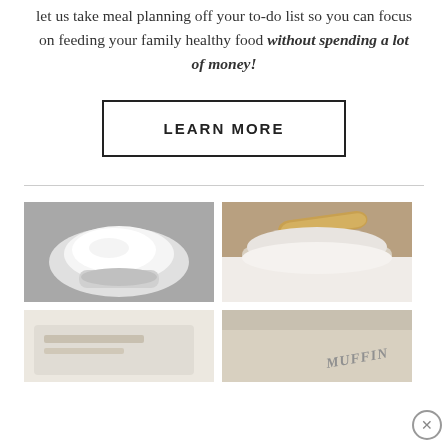let us take meal planning off your to-do list so you can focus on feeding your family healthy food without spending a lot of money!
LEARN MORE
[Figure (photo): White measuring cup filled with white sugar on a gray textured background]
[Figure (photo): Wooden bowl with a wooden spoon filled with white flour/powder]
[Figure (photo): Partially visible image at bottom left, appears to be a food/baking item]
[Figure (photo): Partially visible image at bottom right with text MUFFIN visible]